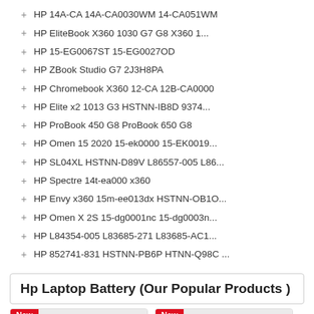+ HP 14A-CA 14A-CA0030WM 14-CA051WM
+ HP EliteBook X360 1030 G7 G8 X360 1...
+ HP 15-EG0067ST 15-EG0027OD
+ HP ZBook Studio G7 2J3H8PA
+ HP Chromebook X360 12-CA 12B-CA0000
+ HP Elite x2 1013 G3 HSTNN-IB8D 9374...
+ HP ProBook 450 G8 ProBook 650 G8
+ HP Omen 15 2020 15-ek0000 15-EK0019...
+ HP SL04XL HSTNN-D89V L86557-005 L86...
+ HP Spectre 14t-ea000 x360
+ HP Envy x360 15m-ee013dx HSTNN-OB1O...
+ HP Omen X 2S 15-dg0001nc 15-dg0003n...
+ HP L84354-005 L83685-271 L83685-AC1...
+ HP 852741-831 HSTNN-PB6P HTNN-Q98C ...
Hp Laptop Battery (Our Popular Products )
[Figure (photo): HP laptop battery product photo with New badge]
[Figure (photo): HP laptop battery product photo with New badge]